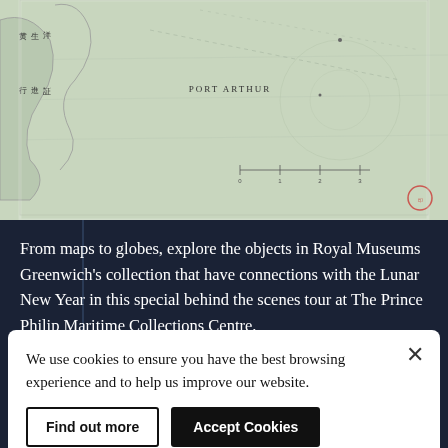[Figure (map): Partial historical map showing coastlines with Japanese text on left and 'PORT ARTHUR' label in the center, with scale bar at bottom. Light green/cream colored cartographic chart.]
From maps to globes, explore the objects in Royal Museums Greenwich’s collection that have connections with the Lunar New Year in this special behind the scenes tour at The Prince Philip Maritime Collections Centre.
Discover more
We use cookies to ensure you have the best browsing experience and to help us improve our website.
Find out more
Accept Cookies
guided activities to help you celebrate at